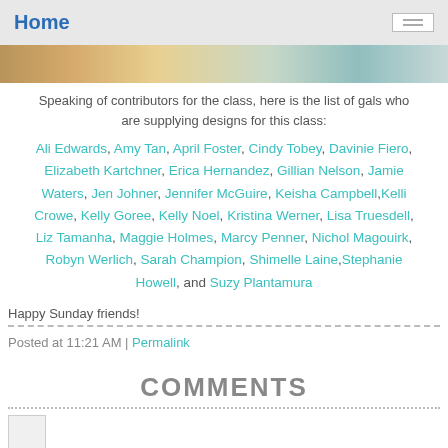Home
[Figure (photo): Partial photo strip showing scrapbooking materials and a person, cropped at top of content area]
Speaking of contributors for the class, here is the list of gals who are supplying designs for this class:
Ali Edwards, Amy Tan, April Foster, Cindy Tobey, Davinie Fiero, Elizabeth Kartchner, Erica Hernandez, Gillian Nelson, Jamie Waters, Jen Johner, Jennifer McGuire, Keisha Campbell, Kelli Crowe, Kelly Goree, Kelly Noel, Kristina Werner, Lisa Truesdell, Liz Tamanha, Maggie Holmes, Marcy Penner, Nichol Magouirk, Robyn Werlich, Sarah Champion, Shimelle Laine, Stephanie Howell, and Suzy Plantamura
Happy Sunday friends!
Posted at 11:21 AM | Permalink
COMMENTS